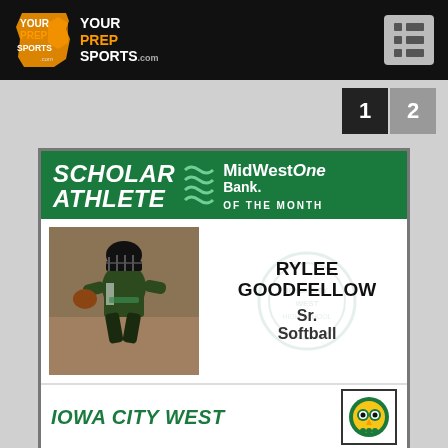YourPrepSports.com
1  2
[Figure (infographic): Scholar Athlete of the Month card sponsored by MidWestOne Bank featuring Rylee Goodfellow, Sr., Softball, Iowa City West. Card shows athlete photo in catcher gear, green banner header, and school logo.]